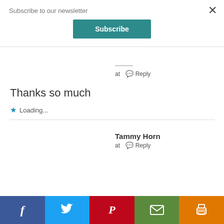Subscribe to our newsletter
Subscribe
at  Reply
Thanks so much
Loading...
Tammy Horn
at  Reply
[Figure (infographic): Social sharing bar with Facebook, Twitter, Pinterest, Email, and Print buttons]